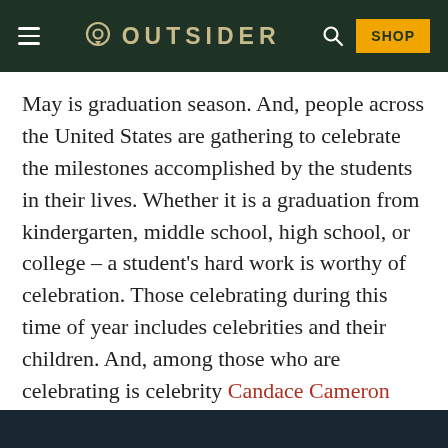OUTSIDER
May is graduation season. And, people across the United States are gathering to celebrate the milestones accomplished by the students in their lives. Whether it is a graduation from kindergarten, middle school, high school, or college – a student's hard work is worthy of celebration. Those celebrating during this time of year includes celebrities and their children. And, among those who are celebrating is celebrity Candace Cameron Bure